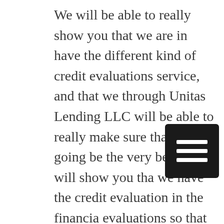We will be able to really show you that we are in have the different kind of credit evaluations service, and that we through Unitas Lending LLC will be able to really make sure that this is going be the very best. We will show you that we have the credit evaluation in the financial evaluations so that way you will be able to really see that we are going to be able to really do it all for today. You will be very proud, and that you will be very thrilled with everything that we have been able to really provide for you today as well. This is going to be the very best, and that you will know that we can care for you today.

Now you will be able to really make sure that you will be able to know that we through Unitas